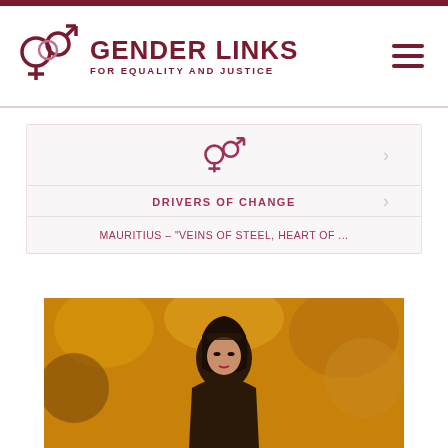[Figure (logo): Gender Links logo with gender symbols and text 'GENDER LINKS FOR EQUALITY AND JUSTICE']
DRIVERS OF CHANGE
MAURITIUS – "VEINS OF STEEL, HEART OF ...
[Figure (photo): Photo of a young woman with dark hair and sunglasses on head, against an autumn background with golden/orange bokeh]